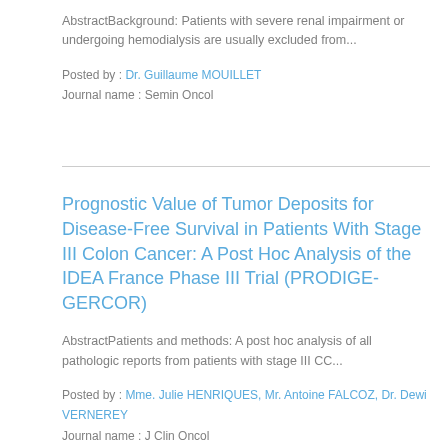AbstractBackground: Patients with severe renal impairment or undergoing hemodialysis are usually excluded from...
Posted by : Dr. Guillaume MOUILLET
Journal name : Semin Oncol
Prognostic Value of Tumor Deposits for Disease-Free Survival in Patients With Stage III Colon Cancer: A Post Hoc Analysis of the IDEA France Phase III Trial (PRODIGE-GERCOR)
AbstractPatients and methods: A post hoc analysis of all pathologic reports from patients with stage III CC...
Posted by : Mme. Julie HENRIQUES, Mr. Antoine FALCOZ, Dr. Dewi VERNEREY
Journal name : J Clin Oncol